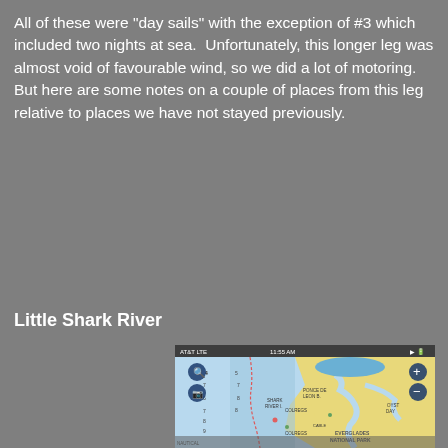All of these were "day sails" with the exception of #3 which included two nights at sea.  Unfortunately, this longer leg was almost void of favourable wind, so we did a lot of motoring.  But here are some notes on a couple of places from this leg relative to places we have not stayed previously.
Little Shark River
[Figure (map): Nautical chart / map screenshot showing Little Shark River area including Everglades National Park, with waterways, depth markers, and navigation aids. Shows AT&T LTE signal and time 11:55 AM at top.]